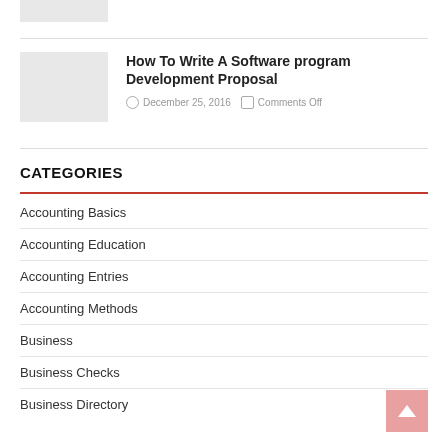[Figure (photo): Small gray placeholder image top left]
How To Write A Software program Development Proposal
December 25, 2016   Comments Off
CATEGORIES
Accounting Basics
Accounting Education
Accounting Entries
Accounting Methods
Business
Business Checks
Business Directory